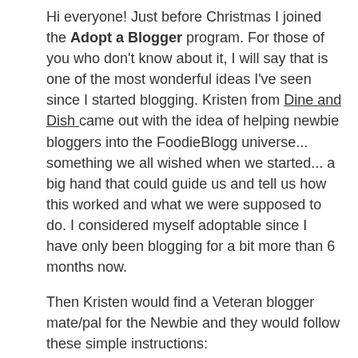Hi everyone! Just before Christmas I joined the Adopt a Blogger program. For those of you who don't know about it, I will say that is one of the most wonderful ideas I've seen since I started blogging. Kristen from Dine and Dish came out with the idea of helping newbie bloggers into the FoodieBlogg universe... something we all wished when we started... a big hand that could guide us and tell us how this worked and what we were supposed to do. I considered myself adoptable since I have only been blogging for a bit more than 6 months now.
Then Kristen would find a Veteran blogger mate/pal for the Newbie and they would follow these simple instructions:
*The Veteran blogger will put a link to their adopted bloggers blog on their own blog. The newbie will do the same
*The Veteran blogger will visit and support the newbie blogger's site on a regular basis. The newbie will do the same.
*The Veteran blogger will do at least one post on their